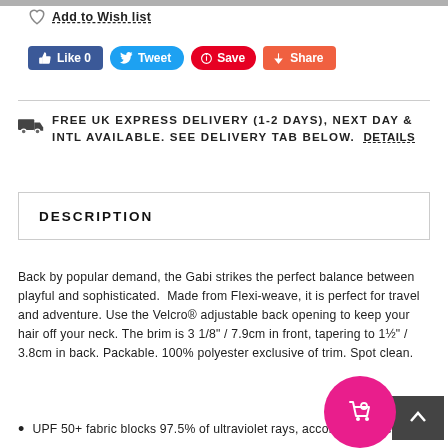Add to Wish list
[Figure (infographic): Social sharing buttons: Like 0 (Facebook blue), Tweet (Twitter blue), Save (Pinterest red), Share (orange)]
FREE UK EXPRESS DELIVERY (1-2 DAYS), NEXT DAY & INTL AVAILABLE. SEE DELIVERY TAB BELOW. Details
DESCRIPTION
Back by popular demand, the Gabi strikes the perfect balance between playful and sophisticated.  Made from Flexi-weave, it is perfect for travel and adventure. Use the Velcro® adjustable back opening to keep your hair off your neck. The brim is 3 1/8" / 7.9cm in front, tapering to 1½" / 3.8cm in back. Packable. 100% polyester exclusive of trim. Spot clean.
UPF 50+ fabric blocks 97.5% of ultraviolet rays, according to the